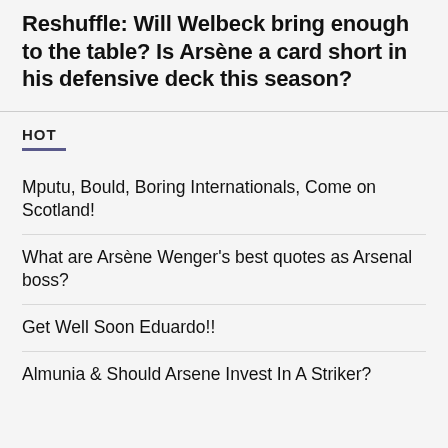Reshuffle: Will Welbeck bring enough to the table? Is Arsène a card short in his defensive deck this season?
HOT
Mputu, Bould, Boring Internationals, Come on Scotland!
What are Arsène Wenger's best quotes as Arsenal boss?
Get Well Soon Eduardo!!
Almunia & Should Arsene Invest In A Striker?